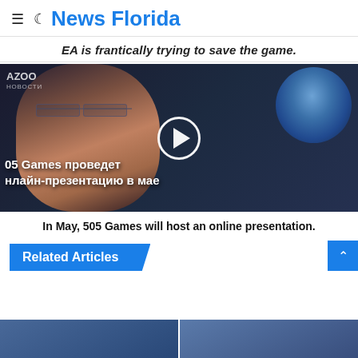News Florida
EA is frantically trying to save the game.
[Figure (screenshot): Video thumbnail showing a woman with glasses against a dark cyberpunk background with a glowing skull graphic. Russian text overlaid: '505 Games проведет онлайн-презентацию в мае'. A play button circle is visible in the center.]
In May, 505 Games will host an online presentation.
Related Articles